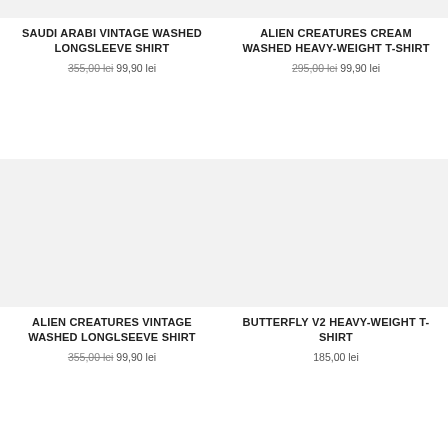[Figure (photo): Top partial product image placeholder - light gray background (top of page, left column)]
[Figure (photo): Top partial product image placeholder - light gray background (top of page, right column)]
SAUDI ARABI VINTAGE WASHED LONGSLEEVE SHIRT
355,00 lei 99,90 lei
ALIEN CREATURES CREAM WASHED HEAVY-WEIGHT T-SHIRT
295,00 lei 99,90 lei
[Figure (photo): Product image placeholder - light gray background (bottom left)]
[Figure (photo): Product image placeholder - light gray background (bottom right)]
ALIEN CREATURES VINTAGE WASHED LONGLSEEVE SHIRT
355,00 lei 99,90 lei
BUTTERFLY V2 HEAVY-WEIGHT T-SHIRT
185,00 lei